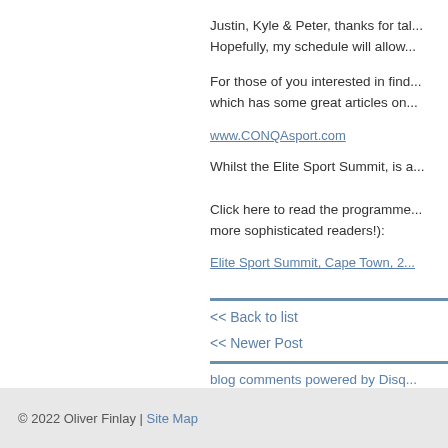Justin, Kyle & Peter, thanks for tal... Hopefully, my schedule will allow...
For those of you interested in find... which has some great articles on...
www.CONQAsport.com
Whilst the Elite Sport Summit, is a...
Click here to read the programme... more sophisticated readers!):
Elite Sport Summit, Cape Town, 2...
<< Back to list
<< Newer Post
blog comments powered by Disq...
© 2022 Oliver Finlay | Site Map